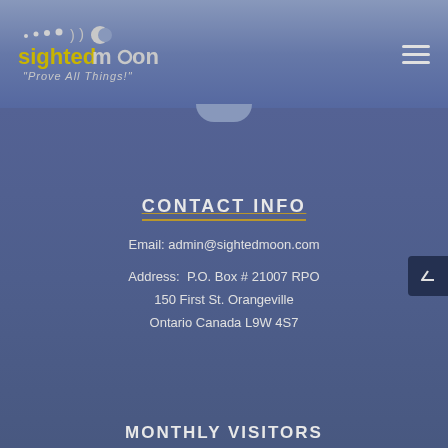[Figure (logo): SightedMoon logo with moon phases icons, brand name in grey/yellow text, and tagline 'Prove All Things!']
CONTACT INFO
Email: admin@sightedmoon.com
Address:  P.O. Box # 21007 RPO
150 First St. Orangeville
Ontario Canada L9W 4S7
MONTHLY VISITORS